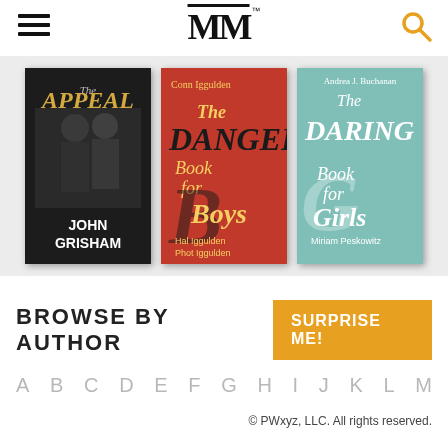MM (logo with hamburger menu and search icon)
[Figure (illustration): Three book covers displayed in a carousel on a light gray background. Left: 'The Appeal' by John Grisham (dark cover). Center: 'The Dangerous Book for Boys' by Conn Iggulden and Hal Iggulden (red/orange cover). Right: 'The Daring Book for Girls' by Andrea J. Buchanan and Miriam Peskowitz (teal cover).]
BROWSE BY AUTHOR
SURPRISE ME!
A  B  C  D  E  F  G  H  I  J  K  L  M
© PWxyz, LLC. All rights reserved.